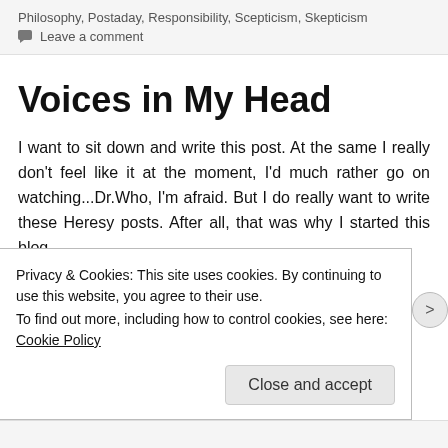Philosophy, Postaday, Responsibility, Scepticism, Skepticism
💬 Leave a comment
Voices in My Head
I want to sit down and write this post. At the same I really don't feel like it at the moment, I'd much rather go on watching...Dr.Who, I'm afraid. But I do really want to write these Heresy posts. After all, that was why I started this blog.
Is this inconsistent of me? Yes, it is. We humans are
Privacy & Cookies: This site uses cookies. By continuing to use this website, you agree to their use.
To find out more, including how to control cookies, see here: Cookie Policy
Close and accept